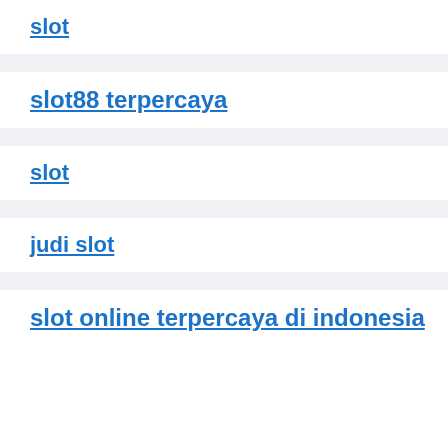slot
slot88 terpercaya
slot
judi slot
slot online terpercaya di indonesia